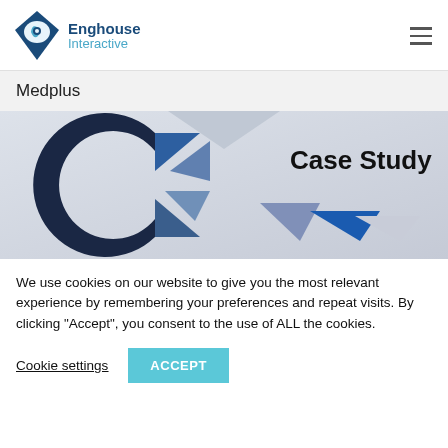Enghouse Interactive
Medplus
[Figure (illustration): A case study cover image with a large stylized letter C made of dark navy and blue geometric triangle shapes, and the text 'Case Study' in large black font on a light gray gradient background.]
We use cookies on our website to give you the most relevant experience by remembering your preferences and repeat visits. By clicking “Accept”, you consent to the use of ALL the cookies.
Cookie settings   ACCEPT